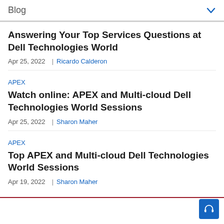Blog
Answering Your Top Services Questions at Dell Technologies World
Apr 25, 2022  |  Ricardo Calderon
APEX
Watch online: APEX and Multi-cloud Dell Technologies World Sessions
Apr 25, 2022  |  Sharon Maher
APEX
Top APEX and Multi-cloud Dell Technologies World Sessions
Apr 19, 2022  |  Sharon Maher